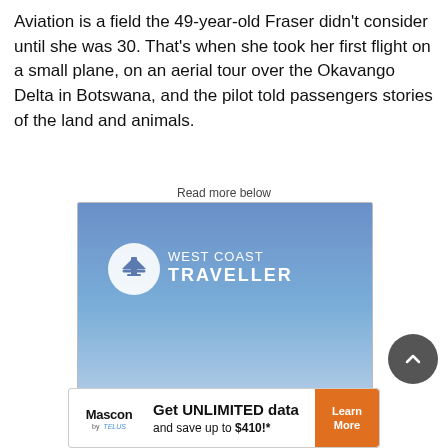Aviation is a field the 49-year-old Fraser didn't consider until she was 30. That's when she took her first flight on a small plane, on an aerial tour over the Okavango Delta in Botswana, and the pilot told passengers stories of the land and animals.
Read more below
[Figure (logo): West Coast Traveller advertisement banner with blue gradient background and white logo text]
[Figure (logo): Mascon by TELUS advertisement: Get UNLIMITED data and save up to $410!* with Learn More button]